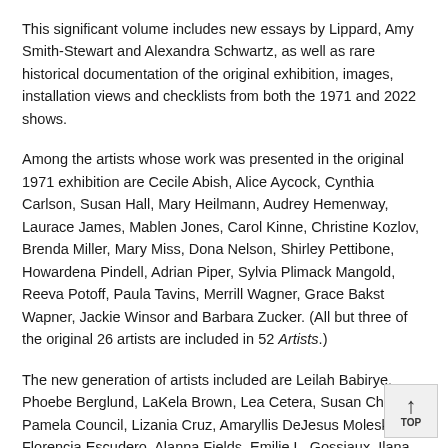This significant volume includes new essays by Lippard, Amy Smith-Stewart and Alexandra Schwartz, as well as rare historical documentation of the original exhibition, images, installation views and checklists from both the 1971 and 2022 shows.
Among the artists whose work was presented in the original 1971 exhibition are Cecile Abish, Alice Aycock, Cynthia Carlson, Susan Hall, Mary Heilmann, Audrey Hemenway, Laurace James, Mablen Jones, Carol Kinne, Christine Kozlov, Brenda Miller, Mary Miss, Dona Nelson, Shirley Pettibone, Howardena Pindell, Adrian Piper, Sylvia Plimack Mangold, Reeva Potoff, Paula Tavins, Merrill Wagner, Grace Bakst Wapner, Jackie Winsor and Barbara Zucker. (All but three of the original 26 artists are included in 52 Artists.)
The new generation of artists included are Leilah Babirye, Phoebe Berglund, LaKela Brown, Lea Cetera, Susan Chen, Pamela Council, Lizania Cruz, Amaryllis DeJesus Moleski, Florencia Escudero, Alanna Fields, Emilie L. Gossiaux, Ilana Harris-Babou, Loie Hollowell, Maryam Hoseini, Hannah Levy,